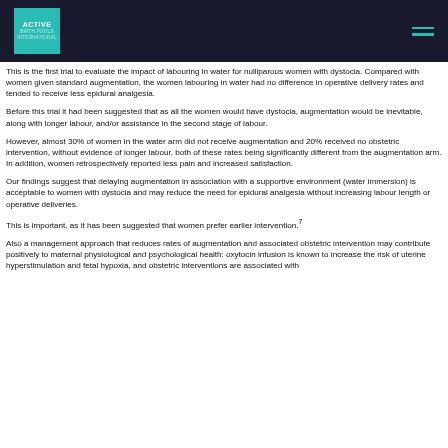ACTIVE [logo]
This is the first trial to evaluate the impact of labouring in water for nulliparous women with dystocia. Compared with women given standard augmentation, the women labouring in water had no difference in operative delivery rates and tended to receive less epidural analgesia.
Before this trial it had been suggested that as all the women would have dystocia, augmentation would be inevitable, along with longer labour, and/or assistance in the second stage of labour.
However, almost 30% of women in the water arm did not receive augmentation and 20% received no obstetric intervention, without evidence of longer labour, both of these rates being significantly different from the augmentation arm. In addition, women retrospectively reported less pain and increased satisfaction.
Our findings suggest that delaying augmentation in association with a supportive environment (water immersion) is acceptable to women with dystocia and may reduce the need for epidural analgesia without increasing labour length or operative deliveries.
This is important, as it has been suggested that women prefer earlier intervention.7
Also a management approach that reduces rates of augmentation and associated obstetric intervention may contribute positively to maternal physiological and psychological health: oxytocin infusion is known to increase the risk of uterine hyperstimulation and fetal hypoxia, and obstetric interventions are associated with [incomplete — cut off]